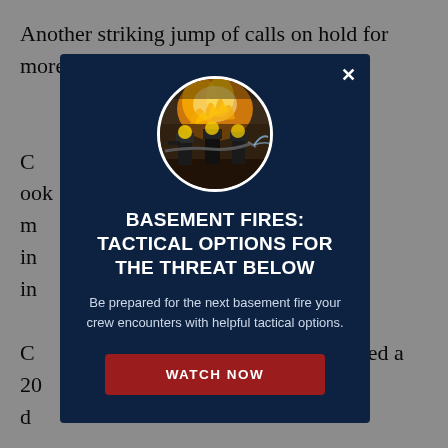Another striking jump of calls on hold for more than five minutes occurred in May and I always credit bureau figures...
C... look m... in... to 574 in...
C... enced a 20... d...
D... 63,573 ca... uly 20... , 911 ca... crease o...
[Figure (screenshot): Modal popup overlay on a webpage. Dark navy background modal with a circular photo of firefighters battling a blaze at the top. Title text reads 'BASEMENT FIRES: TACTICAL OPTIONS FOR THE THREAT BELOW'. Body text reads 'Be prepared for the next basement fire your crew encounters with helpful tactical options.' Red button labeled 'WATCH NOW'. Close button (X) in top right corner.]